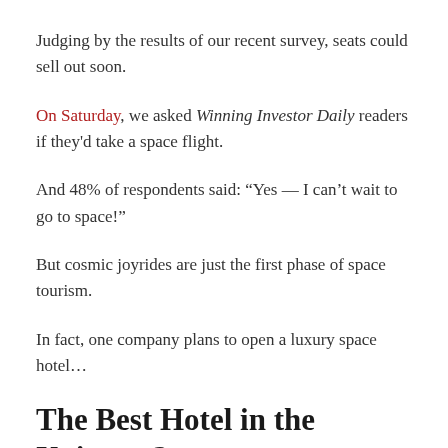Judging by the results of our recent survey, seats could sell out soon.
On Saturday, we asked Winning Investor Daily readers if they'd take a space flight.
And 48% of respondents said: “Yes — I can’t wait to go to space!”
But cosmic joyrides are just the first phase of space tourism.
In fact, one company plans to open a luxury space hotel…
The Best Hotel in the Universe?
Space joirides are just the first phase of space tourism...